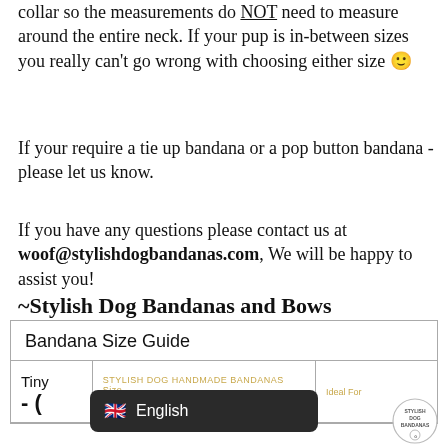collar so the measurements do NOT need to measure around the entire neck. If your pup is in-between sizes you really can't go wrong with choosing either size 🙂
If your require a tie up bandana or a pop button bandana - please let us know.
If you have any questions please contact us at woof@stylishdogbandanas.com, We will be happy to assist you!
~Stylish Dog Bandanas and Bows
| Bandana Size Guide |
| --- |
| Tiny | STYLISH DOG HANDMADE BANDANAS |  |
| (partial) | Size | Ideal For |